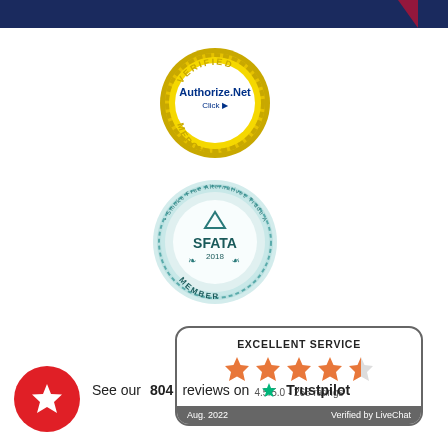[Figure (logo): Authorize.Net Verified Merchant badge - gold circular seal with 'VERIFIED' at top, 'Authorize.Net' in center, 'Click' with arrow, 'MERCHANT' at bottom]
[Figure (logo): SFATA 2018 Member badge - teal/silver circular medallion with 'Smoke Free Alternatives Trade Association' around edge, SFATA logo in center, MEMBER at bottom]
[Figure (infographic): Excellent Service rating box: 4.5/5.0 stars (4 full stars + half star), 268 ratings, Aug. 2022, Verified by LiveChat]
[Figure (logo): Trustpilot review badge: red circle with white star icon, text 'See our 804 reviews on Trustpilot' with green Trustpilot star logo]